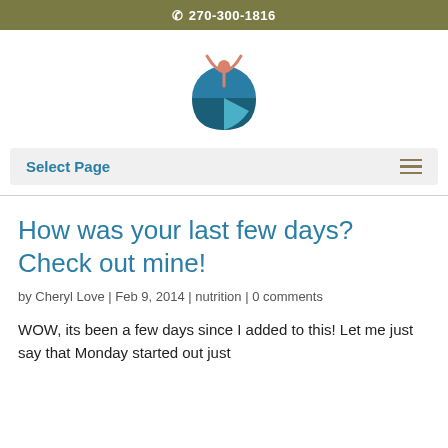270-300-1816
[Figure (logo): A wellness/health logo featuring a stylized human figure with arms raised above a blue circular globe shape, with teal and salmon/pink colors.]
Select Page
How was your last few days? Check out mine!
by Cheryl Love | Feb 9, 2014 | nutrition | 0 comments
WOW, its been a few days since I added to this! Let me just say that Monday started out just